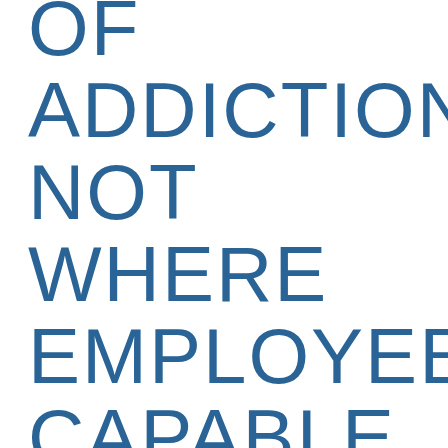OF ADDICTION? NOT WHERE EMPLOYEE CAPABLE OF COMPLYING WITH WORKPLACE